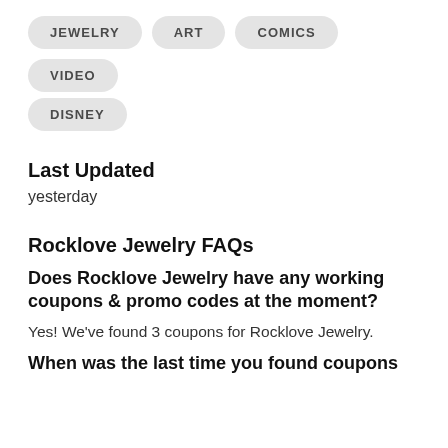JEWELRY
ART
COMICS
VIDEO
DISNEY
Last Updated
yesterday
Rocklove Jewelry FAQs
Does Rocklove Jewelry have any working coupons & promo codes at the moment?
Yes! We've found 3 coupons for Rocklove Jewelry.
When was the last time you found coupons